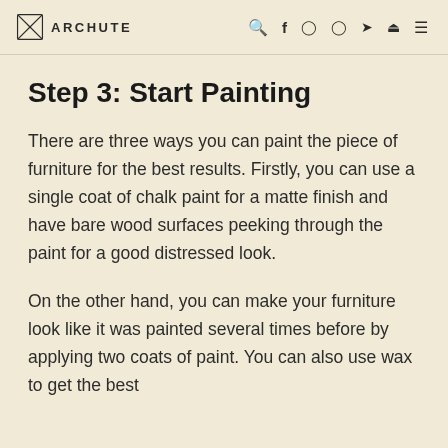ARCHUTE
Step 3: Start Painting
There are three ways you can paint the piece of furniture for the best results. Firstly, you can use a single coat of chalk paint for a matte finish and have bare wood surfaces peeking through the paint for a good distressed look.
On the other hand, you can make your furniture look like it was painted several times before by applying two coats of paint. You can also use wax to get the best